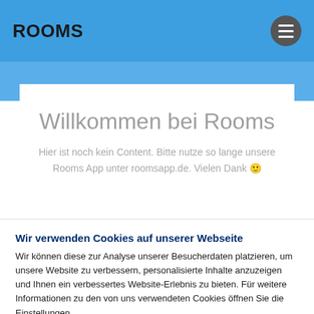ROOMS
Willkommen bei Rooms
Hier ist noch kein Content. Bitte nutze so lange unsere Rooms App unter roomsapp.de. Vielen Dank 🙂
Wir verwenden Cookies auf unserer Webseite
Wir können diese zur Analyse unserer Besucherdaten platzieren, um unsere Website zu verbessern, personalisierte Inhalte anzuzeigen und Ihnen ein verbessertes Website-Erlebnis zu bieten. Für weitere Informationen zu den von uns verwendeten Cookies öffnen Sie die Einstellungen.
Cookie-Einstellungen | Alle akzeptieren